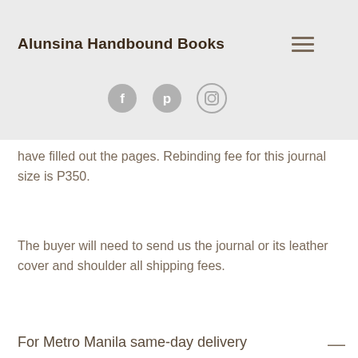Alunsina Handbound Books
[Figure (infographic): Three circular social media icons: Facebook, Pinterest, Instagram]
have filled out the pages. Rebinding fee for this journal size is P350.
The buyer will need to send us the journal or its leather cover and shoulder all shipping fees.
For Metro Manila same-day delivery
We ship via Grab delivery from Tandang Sora, Quezon City. You will be automatically charged a minimum of P100 shipping fee